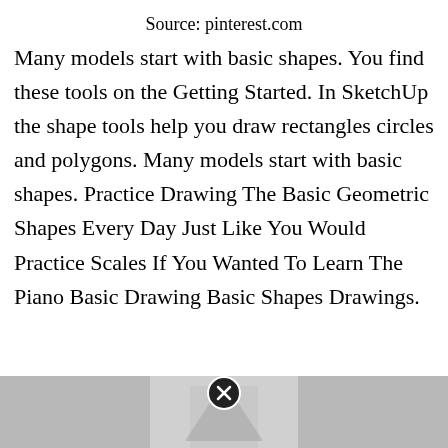Source: pinterest.com
Many models start with basic shapes. You find these tools on the Getting Started. In SketchUp the shape tools help you draw rectangles circles and polygons. Many models start with basic shapes. Practice Drawing The Basic Geometric Shapes Every Day Just Like You Would Practice Scales If You Wanted To Learn The Piano Basic Drawing Basic Shapes Drawings.
[Figure (photo): Partial grayscale image visible at the bottom of the page with a close/dismiss button overlay]